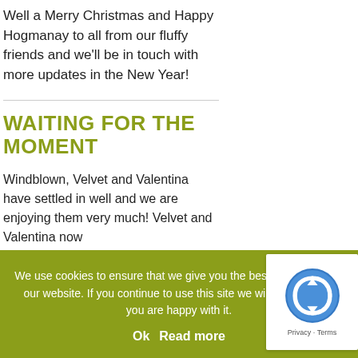Well a Merry Christmas and Happy Hogmanay to all from our fluffy friends and we'll be in touch with more updates in the New Year!
WAITING FOR THE MOMENT
Windblown, Velvet and Valentina have settled in well and we are enjoying them very much! Velvet and Valentina now
We use cookies to ensure that we give you the best experience on our website. If you continue to use this site we will assume that you are happy with it.
Ok   Read more